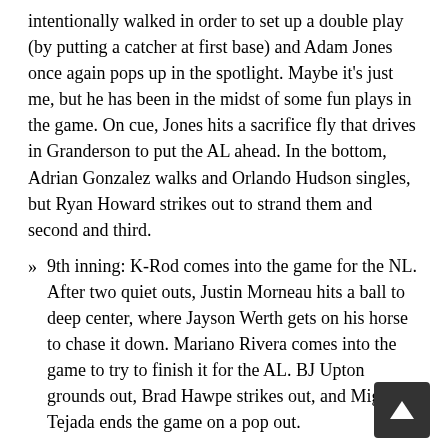intentionally walked in order to set up a double play (by putting a catcher at first base) and Adam Jones once again pops up in the spotlight. Maybe it's just me, but he has been in the midst of some fun plays in the game. On cue, Jones hits a sacrifice fly that drives in Granderson to put the AL ahead. In the bottom, Adrian Gonzalez walks and Orlando Hudson singles, but Ryan Howard strikes out to strand them and second and third.
9th inning: K-Rod comes into the game for the NL. After two quiet outs, Justin Morneau hits a ball to deep center, where Jayson Werth gets on his horse to chase it down. Mariano Rivera comes into the game to try to finish it for the AL. BJ Upton grounds out, Brad Hawpe strikes out, and Miggy Tejada ends the game on a pop out.